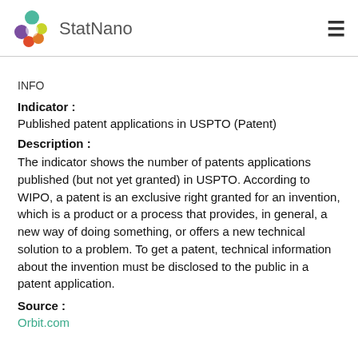StatNano
INFO
Indicator : Published patent applications in USPTO (Patent)
Description : The indicator shows the number of patents applications published (but not yet granted) in USPTO. According to WIPO, a patent is an exclusive right granted for an invention, which is a product or a process that provides, in general, a new way of doing something, or offers a new technical solution to a problem. To get a patent, technical information about the invention must be disclosed to the public in a patent application.
Source : Orbit.com